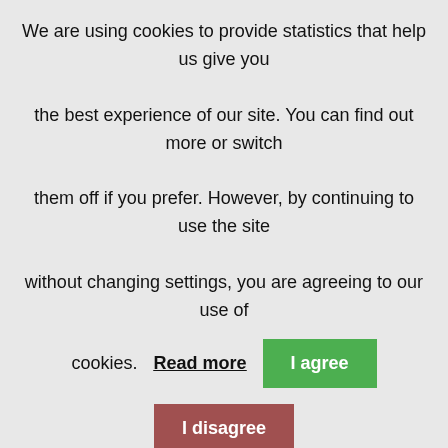We are using cookies to provide statistics that help us give you the best experience of our site. You can find out more or switch them off if you prefer. However, by continuing to use the site without changing settings, you are agreeing to our use of cookies.
Read more  I agree  I disagree
network components such as switches, routers, and Wireless LAN Controllers; managing network devices; and identifying basic security threats. The course also gives you a foundation in network programmability, automation, and software-defined networking. This course helps you prepa... Certified Networ...
Leave a message